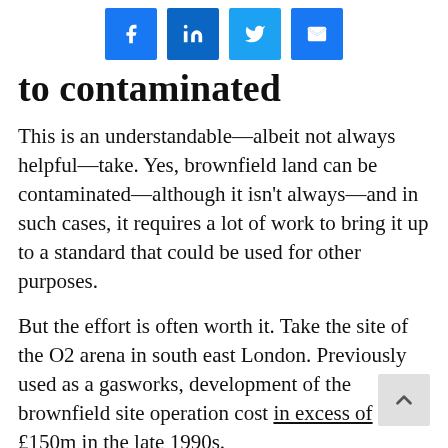[Figure (other): Social media sharing icons row: Facebook, LinkedIn, Twitter, Email]
to contaminated
This is an understandable—albeit not always helpful—take. Yes, brownfield land can be contaminated—although it isn't always—and in such cases, it requires a lot of work to bring it up to a standard that could be used for other purposes.
But the effort is often worth it. Take the site of the O2 arena in south east London. Previously used as a gasworks, development of the brownfield site operation cost in excess of £150m in the late 1990s.